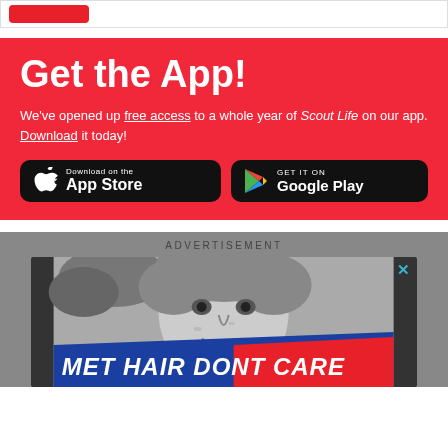[Figure (screenshot): Top strip with a red button, partially visible UI element]
Get the App!
We've opened up free access to a whole year of Scout Life on our app. Download it today!
[Figure (illustration): App Store download button (black rounded rectangle with Apple logo)]
[Figure (illustration): Google Play download button (black rounded rectangle with Play logo)]
ADVERTISEMENT
[Figure (photo): Black and white photo of a smiling man outdoors, with a diagonal banner reading 'MET HAIR DONT CARE' in white bold italic text on blue and red background. A close button (X) appears in the top right corner of the ad.]